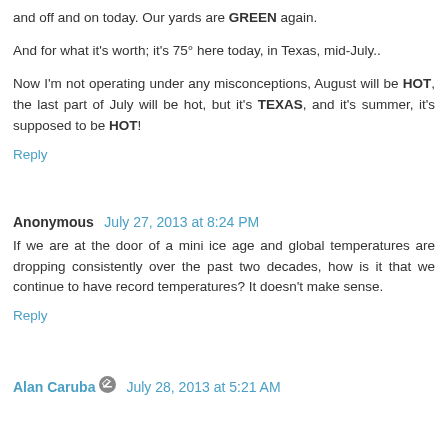and off and on today. Our yards are GREEN again.
And for what it's worth; it's 75° here today, in Texas, mid-July..
Now I'm not operating under any misconceptions, August will be HOT, the last part of July will be hot, but it's TEXAS, and it's summer, it's supposed to be HOT!
Reply
Anonymous July 27, 2013 at 8:24 PM
If we are at the door of a mini ice age and global temperatures are dropping consistently over the past two decades, how is it that we continue to have record temperatures? It doesn't make sense.
Reply
Alan Caruba July 28, 2013 at 5:21 AM